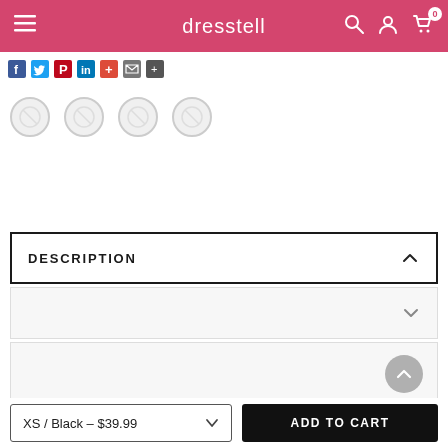dresstell
[Figure (screenshot): Social media sharing icons row (Facebook, Twitter, Pinterest, LinkedIn, etc.)]
[Figure (screenshot): Four circular product thumbnail images (broken/loading)]
DESCRIPTION
[Figure (screenshot): Collapsed accordion section with chevron down]
[Figure (screenshot): Collapsed accordion section with back-to-top button]
Zipper closure
Hand Wash Only
PRIVACY POLICY    ACCEPT ✓
XS / Black – $39.99    ADD TO CART